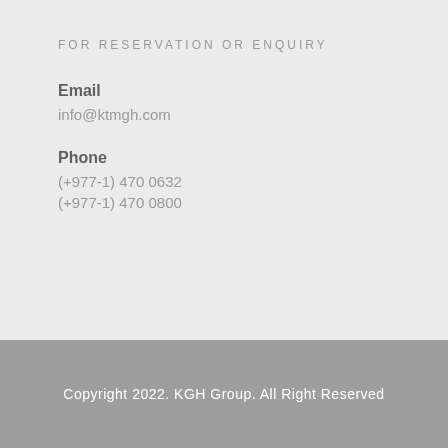FOR RESERVATION OR ENQUIRY
Email
info@ktmgh.com
Phone
(+977-1) 470 0632
(+977-1) 470 0800
Copyright 2022. KGH Group. All Right Reserved